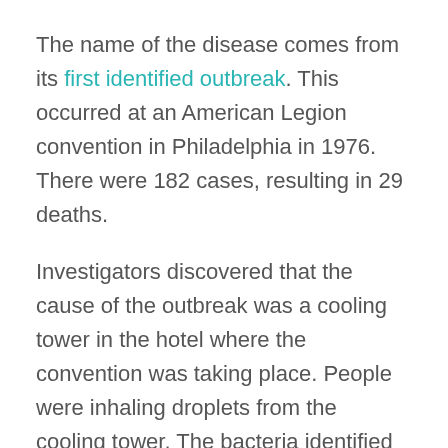The name of the disease comes from its first identified outbreak. This occurred at an American Legion convention in Philadelphia in 1976. There were 182 cases, resulting in 29 deaths.
Investigators discovered that the cause of the outbreak was a cooling tower in the hotel where the convention was taking place. People were inhaling droplets from the cooling tower. The bacteria identified at the site were named legionella.
In fact, legionella bacteria have probably existed for many millions of years as a natural part of the environment. Legionella is found in natural water sources such as lakes and streams. But in these